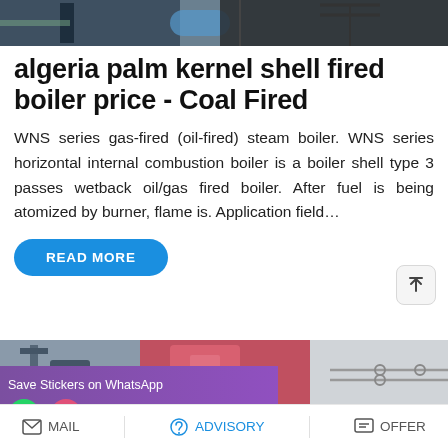[Figure (photo): Partial photo of industrial boiler/steam equipment at top of page]
algeria palm kernel shell fired boiler price - Coal Fired
WNS series gas-fired (oil-fired) steam boiler. WNS series horizontal internal combustion boiler is a boiler shell type 3 passes wetback oil/gas fired boiler. After fuel is being atomized by burner, flame is. Application field…
READ MORE
[Figure (photo): Industrial boiler equipment photo at bottom section with WhatsApp sticker overlay]
MAIL   ADVISORY   OFFER